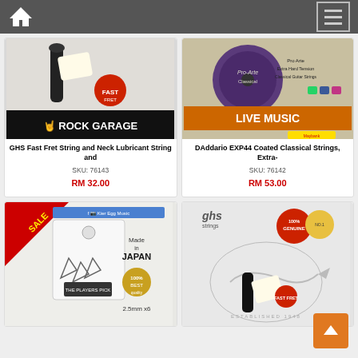Navigation bar with home icon and menu icon
[Figure (photo): GHS Fast Fret String and Neck Lubricant product image with Rock Garage branding]
GHS Fast Fret String and Neck Lubricant String and
SKU: 76143
RM 32.00
[Figure (photo): DAddario EXP44 Coated Classical Strings Extra Hard Tension product image with Live Music branding]
DAddario EXP44 Coated Classical Strings, Extra-
SKU: 76142
RM 53.00
[Figure (photo): JTC guitar pick Made in Japan 2.5mm x6 product image with SALE tag]
[Figure (photo): GHS strings Fast Fret product image with Genuine badge]